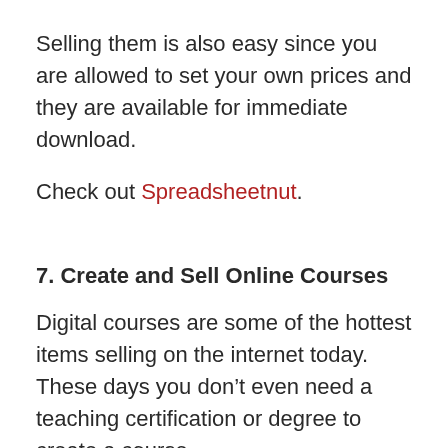Selling them is also easy since you are allowed to set your own prices and they are available for immediate download.
Check out Spreadsheetnut.
7. Create and Sell Online Courses
Digital courses are some of the hottest items selling on the internet today. These days you don’t even need a teaching certification or degree to create a course.